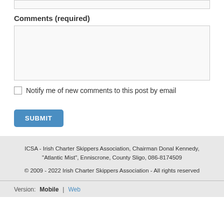(input field at top)
Comments (required)
(textarea for comments)
Notify me of new comments to this post by email
SUBMIT
ICSA - Irish Charter Skippers Association, Chairman Donal Kennedy, "Atlantic Mist", Enniscrone, County Sligo, 086-8174509
© 2009 - 2022 Irish Charter Skippers Association - All rights reserved
Version: Mobile | Web